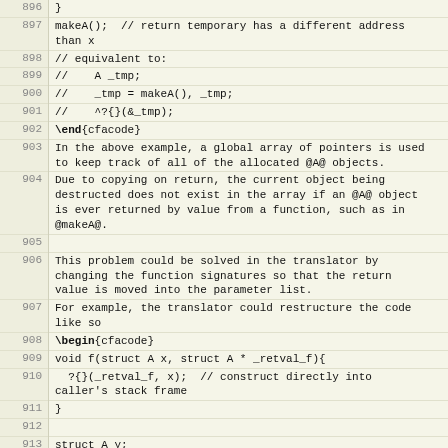Code listing lines 896-919 showing C struct copy/return translator example